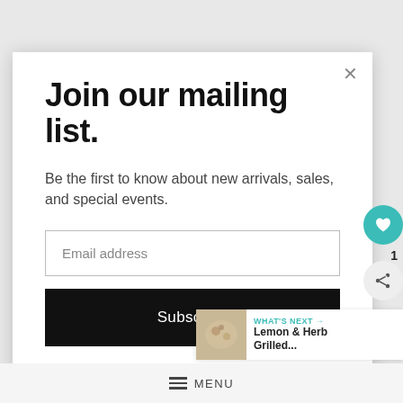Join our mailing list.
Be the first to know about new arrivals, sales, and special events.
Email address
Subscribe
WHAT'S NEXT → Lemon & Herb Grilled...
MENU